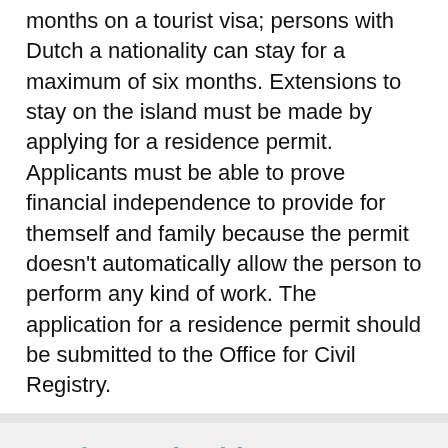months on a tourist visa; persons with Dutch a nationality can stay for a maximum of six months. Extensions to stay on the island must be made by applying for a residence permit. Applicants must be able to prove financial independence to provide for themself and family because the permit doesn't automatically allow the person to perform any kind of work. The application for a residence permit should be submitted to the Office for Civil Registry.
Get in touch with us!
Do you wish to talk to us in person? Please come here at h...